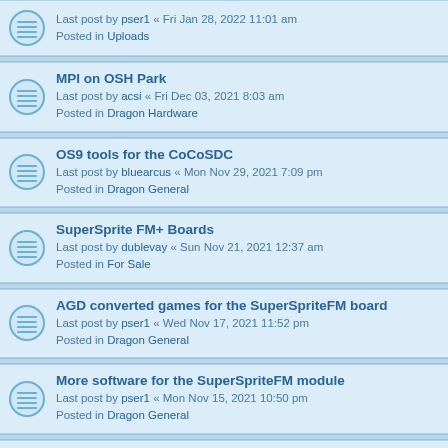Last post by pser1 « Fri Jan 28, 2022 11:01 am
Posted in Uploads
MPI on OSH Park
Last post by acsi « Fri Dec 03, 2021 8:03 am
Posted in Dragon Hardware
OS9 tools for the CoCoSDC
Last post by bluearcus « Mon Nov 29, 2021 7:09 pm
Posted in Dragon General
SuperSprite FM+ Boards
Last post by dublevay « Sun Nov 21, 2021 12:37 am
Posted in For Sale
AGD converted games for the SuperSpriteFM board
Last post by pser1 « Wed Nov 17, 2021 11:52 pm
Posted in Dragon General
More software for the SuperSpriteFM module
Last post by pser1 « Mon Nov 15, 2021 10:50 pm
Posted in Dragon General
Sprite editor
Last post by sorchard « Mon Aug 30, 2021 8:55 pm
Posted in Uploads
XRoar 0.37 released
Last post by sixxie « Sat Aug 14, 2021 11:02 am
Posted in Dragon General
Dragon RGB Boards
Last post by dublevay « Fri Aug 13, 2021 11:56 pm
Posted in Dragon Hardware